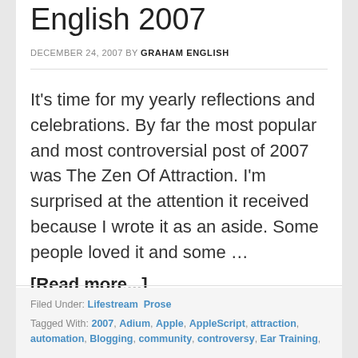English 2007
DECEMBER 24, 2007 BY GRAHAM ENGLISH
It's time for my yearly reflections and celebrations. By far the most popular and most controversial post of 2007 was The Zen Of Attraction. I'm surprised at the attention it received because I wrote it as an aside. Some people loved it and some ... [Read more...]
Filed Under: Lifestream Prose
Tagged With: 2007, Adium, Apple, AppleScript, attraction, automation, Blogging, community, controversy, Ear Training,